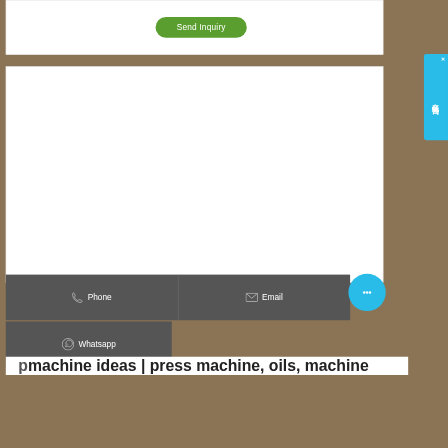[Figure (screenshot): Send Inquiry green button on white card background]
[Figure (screenshot): 在线咨询 (online consultation) blue vertical sidebar popup with close X]
[Figure (screenshot): White content area card (empty/blank)]
[Figure (screenshot): Phone and Email contact buttons (dark grey bar)]
[Figure (screenshot): Blue circular chat bubble button]
[Figure (screenshot): Whatsapp dark grey button bar]
machine ideas | press machine, oils, machine